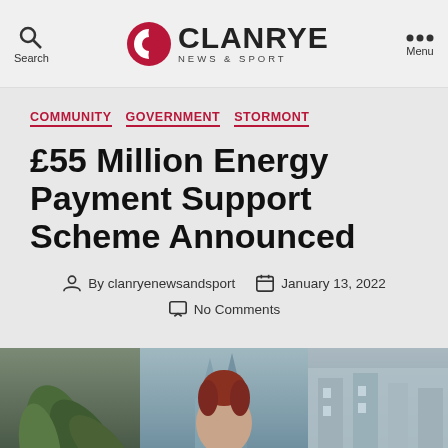[Figure (logo): Clanrye News & Sport logo with circular C icon in dark red/crimson]
COMMUNITY  GOVERNMENT  STORMONT
£55 Million Energy Payment Support Scheme Announced
By clanryenewsandsport   January 13, 2022   No Comments
[Figure (photo): Bottom photo strip showing person with red hair, plant leaves, and building spires in background]